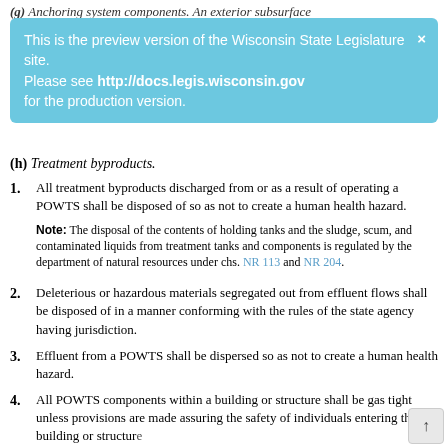(g) Anchoring system components. An exterior subsurface
This is the preview version of the Wisconsin State Legislature site. Please see http://docs.legis.wisconsin.gov for the production version.
(h) Treatment byproducts.
1. All treatment byproducts discharged from or as a result of operating a POWTS shall be disposed of so as not to create a human health hazard.
Note: The disposal of the contents of holding tanks and the sludge, scum, and contaminated liquids from treatment tanks and components is regulated by the department of natural resources under chs. NR 113 and NR 204.
2. Deleterious or hazardous materials segregated out from effluent flows shall be disposed of in a manner conforming with the rules of the state agency having jurisdiction.
3. Effluent from a POWTS shall be dispersed so as not to create a human health hazard.
4. All POWTS components within a building or structure shall be gas tight unless provisions are made assuring the safety of individuals entering the building or structure
(i) Site parameters and limitations. POWTS treatment, holdi